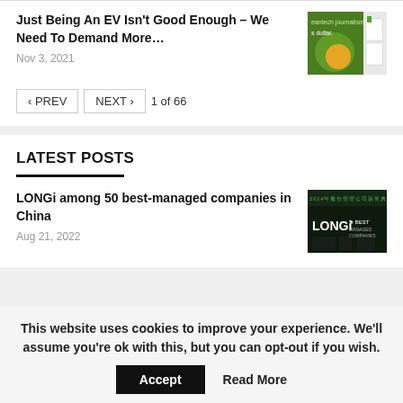Just Being An EV Isn't Good Enough – We Need To Demand More…
Nov 3, 2021
[Figure (photo): Green themed image with text about cleantech journalism and a dollar, plus some documents]
‹ PREV   NEXT ›   1 of 66
LATEST POSTS
LONGi among 50 best-managed companies in China
Aug 21, 2022
[Figure (photo): LONGi company event photo with LONGi logo and Best Managed Company award sign, people in dark setting]
This website uses cookies to improve your experience. We'll assume you're ok with this, but you can opt-out if you wish.
Accept   Read More